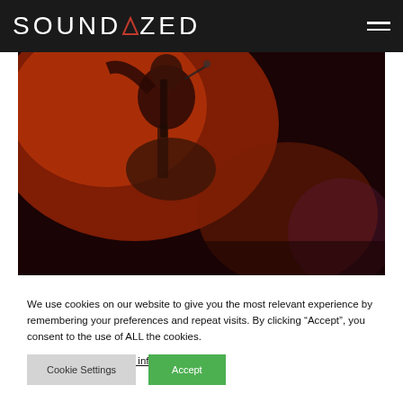SOUNDAZED
[Figure (photo): Concert photo of a musician playing guitar and singing into a microphone on a dark stage under red/orange lighting]
We use cookies on our website to give you the most relevant experience by remembering your preferences and repeat visits. By clicking “Accept”, you consent to the use of ALL the cookies.
Do not sell my personal information.
Cookie Settings  Accept